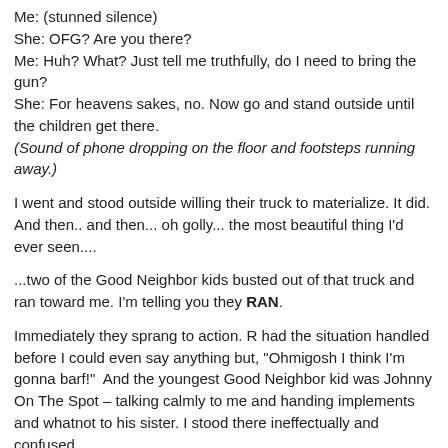Me: (stunned silence)
She: OFG? Are you there?
Me: Huh? What? Just tell me truthfully, do I need to bring the gun?
She: For heavens sakes, no. Now go and stand outside until the children get there.
(Sound of phone dropping on the floor and footsteps running away.)
I went and stood outside willing their truck to materialize. It did. And then.. and then... oh golly... the most beautiful thing I'd ever seen....
...two of the Good Neighbor kids busted out of that truck and ran toward me. I'm telling you they RAN.
Immediately they sprang to action. R had the situation handled before I could even say anything but, "Ohmigosh I think I'm gonna barf!"  And the youngest Good Neighbor kid was Johnny On The Spot – talking calmly to me and handing implements and whatnot to his sister. I stood there ineffectually and confused.